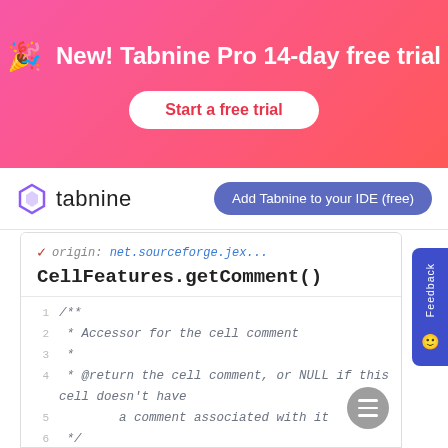New! Tabnine Pro 14-day free trial
Start a free trial
[Figure (logo): Tabnine logo with hexagon icon]
Add Tabnine to your IDE (free)
origin: net.sourceforge.jex...
CellFeatures.getComment()
1  /**
2   * Accessor for the cell comment
3   *
4   * @return the cell comment, or NULL if this cell doesn't have
5   *         a comment associated with it
6   */
7  public String getComment()
8  {
9    return super.getComment();